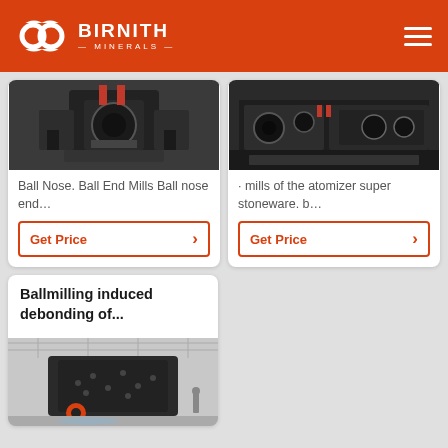BIRNITH MINERALS
[Figure (photo): Industrial ball nose end mill machinery in a factory setting, dark heavy equipment]
Ball Nose. Ball End Mills Ball nose end…
Get Price
[Figure (photo): Industrial atomizer mills heavy equipment in a factory, dark machinery on pallets]
· mills of the atomizer super stoneware. b…
Get Price
Ballmilling induced debonding of...
[Figure (photo): Large industrial ball mill machine in a bright factory hall with white ceiling trusses]